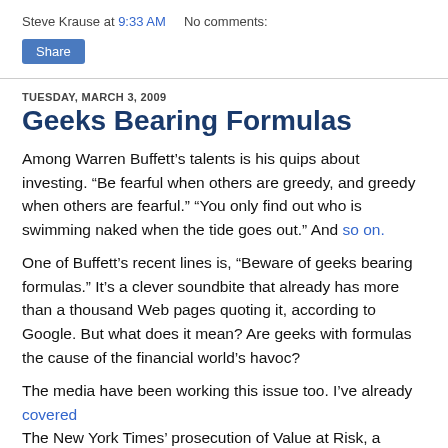Steve Krause at 9:33 AM    No comments:
Share
TUESDAY, MARCH 3, 2009
Geeks Bearing Formulas
Among Warren Buffett’s talents is his quips about investing. “Be fearful when others are greedy, and greedy when others are fearful.” “You only find out who is swimming naked when the tide goes out.” And so on.
One of Buffett’s recent lines is, “Beware of geeks bearing formulas.” It’s a clever soundbite that already has more than a thousand Web pages quoting it, according to Google. But what does it mean? Are geeks with formulas the cause of the financial world’s havoc?
The media have been working this issue too. I’ve already covered The New York Times’ prosecution of Value at Risk, a widely used